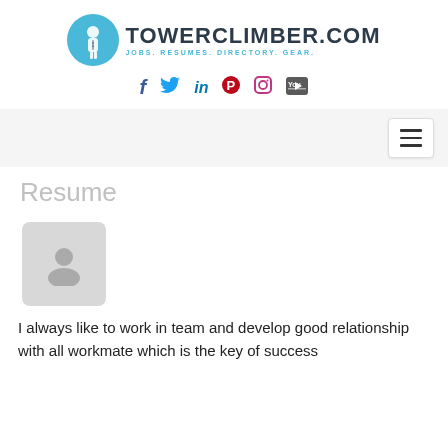TOWERCLIMBER.COM — JOBS. RESUMES. DIRECTORY. GEAR.
[Figure (logo): TowerClimber.com logo with icon of a person climbing a tower]
[Figure (infographic): Social media icons: Facebook, Twitter, LinkedIn, Pinterest, Instagram, YouTube]
[Figure (infographic): Hamburger menu button (three horizontal lines) on a light grey navigation bar]
Resume
[Figure (illustration): Grey placeholder avatar/profile image with a person silhouette icon]
I always like to work in team and develop good relationship with all workmate which is the key of success